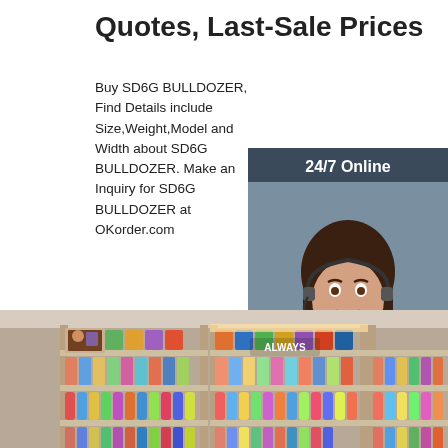Quotes, Last-Sale Prices
Buy SD6G BULLDOZER, Find Details include Size,Weight,Model and Width about SD6G BULLDOZER. Make an Inquiry for SD6G BULLDOZER at OKorder.com
[Figure (other): Orange 'Get Price' button]
[Figure (other): Dark sidebar panel with '24/7 Online' header, a woman wearing a headset headphone smiling, 'Click here for free chat!' text, and orange QUOTATION button]
[Figure (photo): Retail store interior with stocked shelves displaying various products including cosmetics, bottles, and packaged goods in a brightly lit store aisle]